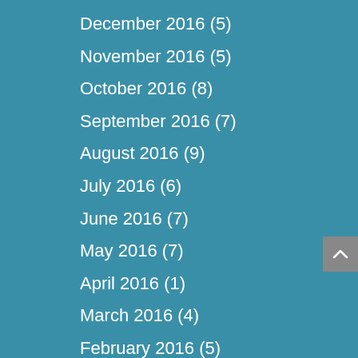December 2016 (5)
November 2016 (5)
October 2016 (8)
September 2016 (7)
August 2016 (9)
July 2016 (6)
June 2016 (7)
May 2016 (7)
April 2016 (1)
March 2016 (4)
February 2016 (5)
January 2016 (4)
December 2015 (5)
November 2015 (4)
October 2015 (5)